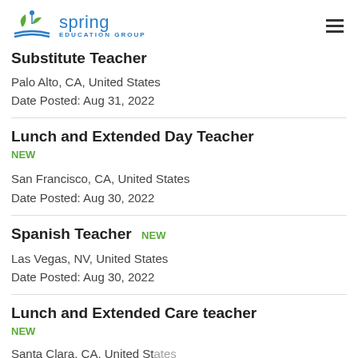Spring Education Group
Substitute Teacher
Palo Alto, CA, United States
Date Posted: Aug 31, 2022
Lunch and Extended Day Teacher NEW
San Francisco, CA, United States
Date Posted: Aug 30, 2022
Spanish Teacher NEW
Las Vegas, NV, United States
Date Posted: Aug 30, 2022
Lunch and Extended Care teacher NEW
Santa Clara, CA, United States